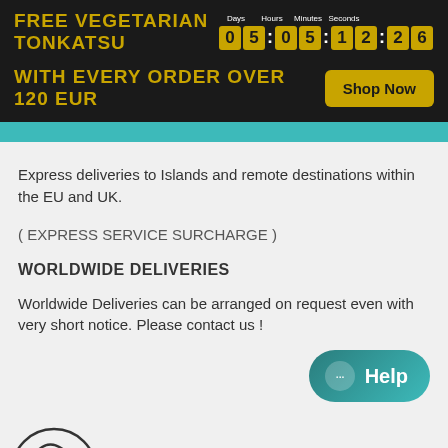FREE VEGETARIAN TONKATSU — Days 05 : Hours 05 : Minutes 12 : Seconds 26
WITH EVERY ORDER OVER 120 EUR — Shop Now
Express deliveries to Islands and remote destinations within the EU and UK.
( EXPRESS SERVICE SURCHARGE )
WORLDWIDE DELIVERIES
Worldwide Deliveries can be arranged on request even with very short notice. Please contact us !
[Figure (other): Help chat button with teal gradient background and chat bubble icon]
[Figure (other): Partial circular logo or icon at bottom left, cut off]